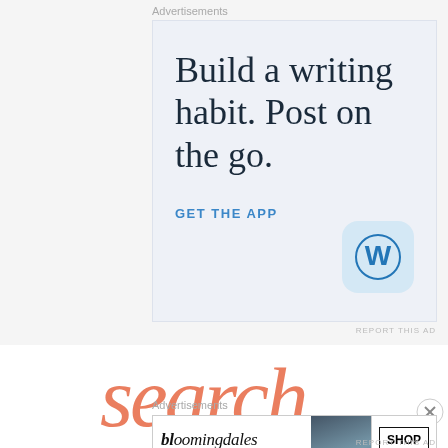Advertisements
[Figure (illustration): WordPress app advertisement. Large serif text reads 'Build a writing habit. Post on the go.' with a 'GET THE APP' call to action link and the WordPress logo icon (blue W on rounded square background) on a light blue-gray background.]
REPORT THIS AD
[Figure (illustration): Decorative script text in orange/coral color reading 'search' in cursive style, partially visible]
Advertisements
[Figure (illustration): Bloomingdales advertisement banner showing the Bloomingdales logo in italic serif font, tagline 'View Today's Top Deals!', a model wearing a wide-brim hat, and a 'SHOP NOW >' button in a box.]
REPORT THIS AD